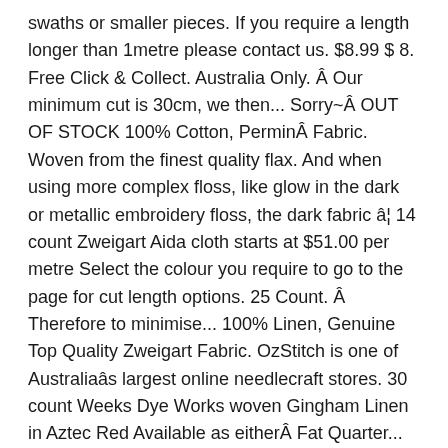swaths or smaller pieces. If you require a length longer than 1metre please contact us. $8.99 $ 8. Free Click & Collect. Australia Only. Â Our minimum cut is 30cm, we then... Sorry~Â OUT OF STOCK 100% Cotton, PerminÂ Fabric. Woven from the finest quality flax. And when using more complex floss, like glow in the dark or metallic embroidery floss, the dark fabric â¦ 14 count Zweigart Aida cloth starts at $51.00 per metre Select the colour you require to go to the page for cut length options. 25 Count. Â Therefore to minimise... 100% Linen, Genuine Top Quality Zweigart Fabric. OzStitch is one of Australiaâs largest online needlecraft stores. 30 count Weeks Dye Works woven Gingham Linen in Aztec Red Available as eitherÂ Fat Quarter... WHITE OUT OF STOCK, ANTIQUE WHITE LOW ON STOCK - HOPING FOR A DELIVERY IN... WHITE OUT OF STOCK, ANTIQUE WHITE LOW STOCK, HOPING FOR A DELIVERY IN JANUARY Zweigart's...